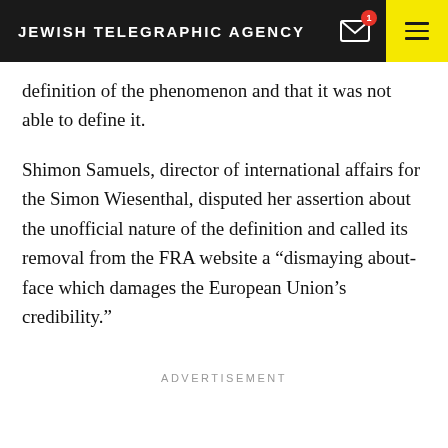JEWISH TELEGRAPHIC AGENCY
definition of the phenomenon and that it was not able to define it.
Shimon Samuels, director of international affairs for the Simon Wiesenthal, disputed her assertion about the unofficial nature of the definition and called its removal from the FRA website a “dismaying about-face which damages the European Union’s credibility.”
ADVERTISEMENT